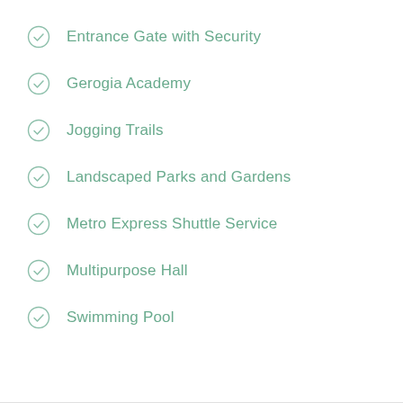Entrance Gate with Security
Gerogia Academy
Jogging Trails
Landscaped Parks and Gardens
Metro Express Shuttle Service
Multipurpose Hall
Swimming Pool